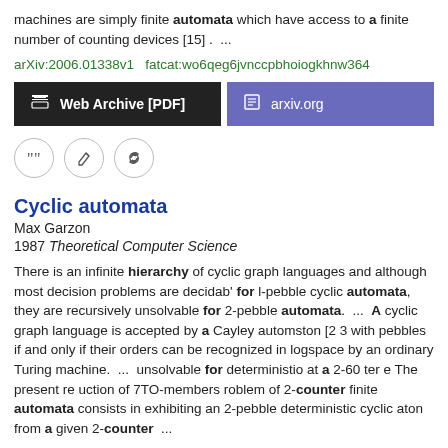machines are simply finite automata which have access to a finite number of counting devices [15] .  ...
arXiv:2006.01338v1  fatcat:wo6qeg6jvnccpbhoiogkhnw364
[Figure (other): Two buttons: 'Web Archive [PDF]' (black background) and 'arxiv.org' (purple background)]
[Figure (other): Three circle icon buttons: quote, edit, link]
Cyclic automata
Max Garzon
1987 Theoretical Computer Science
There is an infinite hierarchy of cyclic graph languages and although most decision problems are decidab' for l-pebble cyclic automata, they are recursively unsolvable for 2-pebble automata.  ...  A cyclic graph language is accepted by a Cayley automston [2 3 with pebbles if and only if their orders can be recognized in logspace by an ordinary Turing machine.  ...  unsolvable for deterministio at a 2-60 ter e The present re uction of 7TO-members roblem of 2-counter finite automata consists in exhibiting an 2-pebble deterministic cyclic aton from a given 2-counter  ...
doi:10.1016/0304-3975(87)90071-5